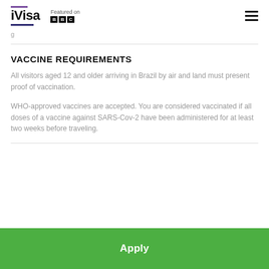iVisa — Featured on BBC
g
VACCINE REQUIREMENTS
All visitors aged 12 and older arriving in Brazil by air and land must present proof of vaccination.
WHO-approved vaccines are accepted. You are considered vaccinated if all doses of a vaccine against SARS-Cov-2 have been administered for at least two weeks before traveling.
Apply